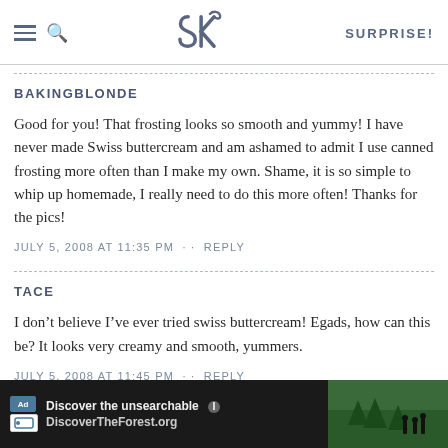SK — SURPRISE!
BAKINGBLONDE
Good for you! That frosting looks so smooth and yummy! I have never made Swiss buttercream and am ashamed to admit I use canned frosting more often than I make my own. Shame, it is so simple to whip up homemade, I really need to do this more often! Thanks for the pics!
JULY 5, 2008 AT 11:35 PM · · REPLY
TACE
I don't believe I've ever tried swiss buttercream! Egads, how can this be? It looks very creamy and smooth, yummers.
JULY 5, 2008 AT 11:45 PM · · REPLY
CINDY
[Figure (screenshot): Advertisement banner: 'Discover the unsearchable — DiscoverTheForest.org' with forest background image and close button]